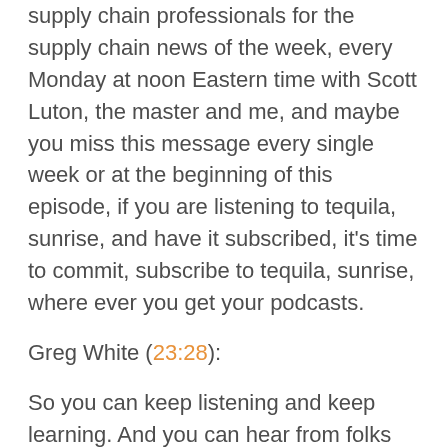supply chain professionals for the supply chain news of the week, every Monday at noon Eastern time with Scott Luton, the master and me, and maybe you miss this message every single week or at the beginning of this episode, if you are listening to tequila, sunrise, and have it subscribed, it's time to commit, subscribe to tequila, sunrise, where ever you get your podcasts.
Greg White (23:28):
So you can keep listening and keep learning. And you can hear from folks like Ben Gordon and